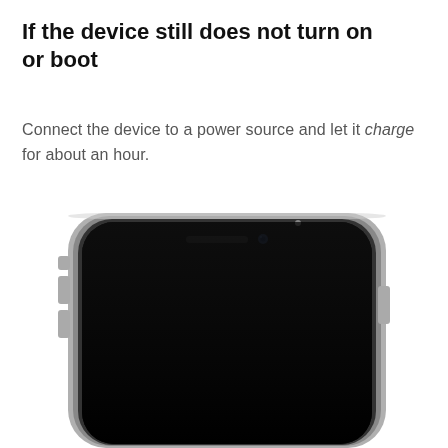If the device still does not turn on or boot
Connect the device to a power source and let it charge for about an hour.
[Figure (photo): Close-up photo of the top portion of a smartphone with a black screen (powered off), showing the front-facing camera, speaker grille, and metal side frame with buttons visible on the left and right edges.]